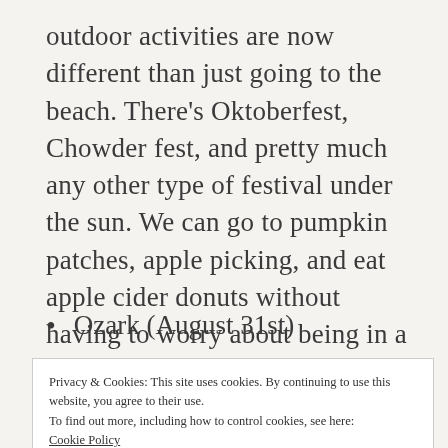outdoor activities are now different than just going to the beach. There's Oktoberfest, Chowder fest, and pretty much any other type of festival under the sun. We can go to pumpkin patches, apple picking, and eat apple cider donuts without having to worry about being in a bathing suit anytime soon. And we can't forget about some of our favorite shows that are starting in the Fall:
Ozark (August 31st)
Privacy & Cookies: This site uses cookies. By continuing to use this website, you agree to their use.
To find out more, including how to control cookies, see here:
Cookie Policy
Close and accept
Ray Donovan (October 28th)